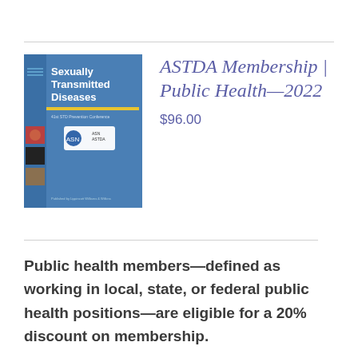[Figure (illustration): Cover of the journal 'Sexually Transmitted Diseases' showing a blue cover with the journal title in white text, colorful medical images on the left side, and a conference logo badge.]
ASTDA Membership | Public Health—2022
$96.00
Public health members—defined as working in local, state, or federal public health positions—are eligible for a 20% discount on membership.